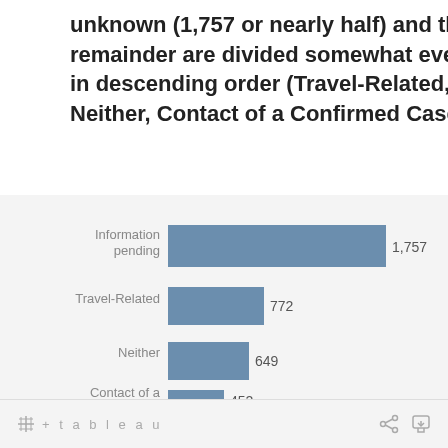unknown (1,757 or nearly half) and the remainder are divided somewhat evenly in descending order (Travel-Related, Neither, Contact of a Confirmed Case).
[Figure (bar-chart): ]
+ t a b l e a u